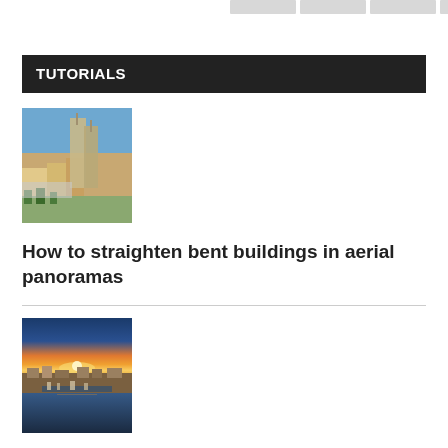[Figure (other): Navigation bar with four grey thumbnail images at the top]
TUTORIALS
[Figure (photo): Aerial cityscape photo showing tall buildings under construction with lower buildings and green trees in foreground, blue sky]
How to straighten bent buildings in aerial panoramas
[Figure (photo): Aerial photo of a coastal town at sunset showing marina with boats, waterfront buildings, orange and yellow sky horizon]